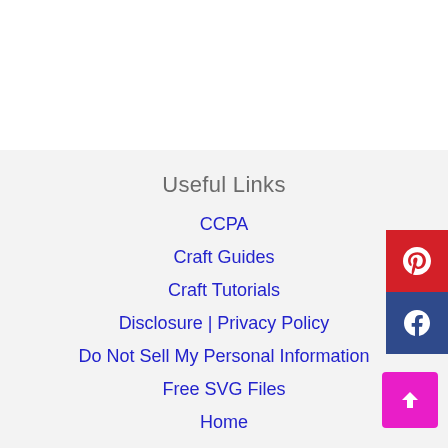Useful Links
CCPA
Craft Guides
Craft Tutorials
Disclosure | Privacy Policy
Do Not Sell My Personal Information
Free SVG Files
Home
Web Stories
Useful Links